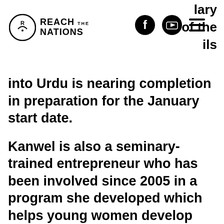Reach the Nations — navigation header with logo, Facebook icon, YouTube icon, hamburger menu
into Urdu is nearing completion in preparation for the January start date.
Kanwel is also a seminary-trained entrepreneur who has been involved since 2005 in a program she developed which helps young women develop skills in sewing, cosmetology, and Bible. We will tell you more about her amazing work in another post.